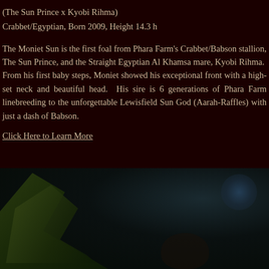(The Sun Prince x Kyobi Rihma)
Crabbet/Egyptian, Born 2009, Height 14.3 h
The Moniet Sun is the first foal from Phara Farm's Crabbet/Babson stallion, The Sun Prince, and the Straight Egyptian Al Khamsa mare, Kyobi Rihma. From his first baby steps, Moniet showed his exceptional front with a high-set neck and beautiful head. His sire is 6 generations of Phara Farm linebreeding to the unforgettable Lewisfield Sun God (Aarah-Raffles) with just a dash of Babson.
Click Here to Learn More
[Figure (photo): Dark outdoor photo showing green palm/plant leaves on the left side against a dark background, with a blurred dark scene to the right.]